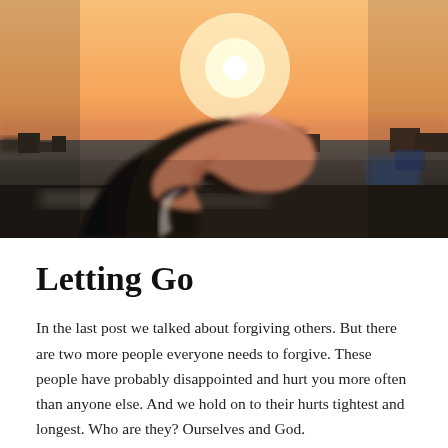[Figure (photo): A person's outstretched hand reaching toward a bright sun setting over a blurred cityscape with warm orange and pink sky tones.]
Letting Go
In the last post we talked about forgiving others. But there are two more people everyone needs to forgive. These people have probably disappointed and hurt you more often than anyone else. And we hold on to their hurts tightest and longest. Who are they? Ourselves and God.